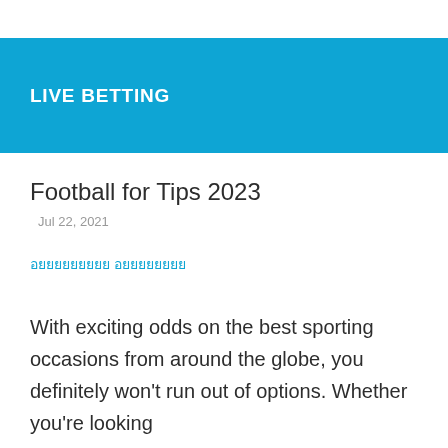LIVE BETTING
Football for Tips 2023
Jul 22, 2021
อยยยยยยยยย อยยยยยยยย
With exciting odds on the best sporting occasions from around the globe, you definitely won't run out of options. Whether you're looking